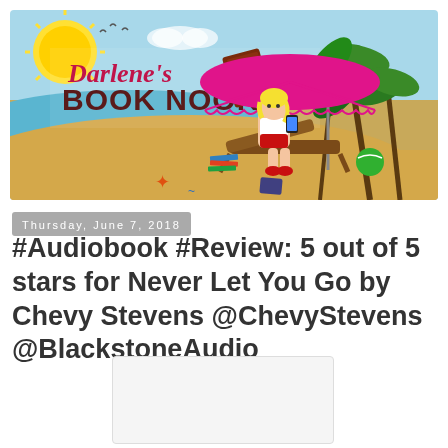[Figure (illustration): Darlene's Book Nook blog banner showing a beach scene with a blonde woman reading on a lounge chair under a pink umbrella, palm trees, sun, and the blog title 'Darlene's Book Nook']
Thursday, June 7, 2018
#Audiobook #Review: 5 out of 5 stars for Never Let You Go by Chevy Stevens @ChevyStevens @BlackstoneAudio
[Figure (photo): Book cover placeholder image (white/light gray rectangle)]